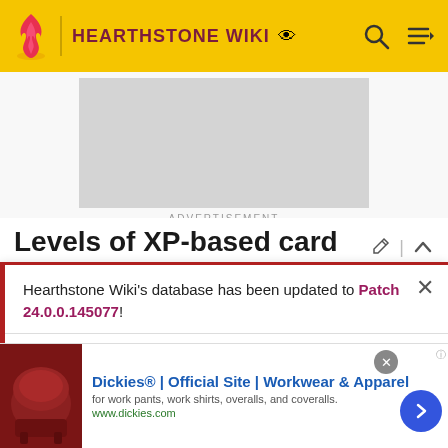HEARTHSTONE WIKI
[Figure (screenshot): Advertisement placeholder (light gray rectangle)]
ADVERTISEMENT
Levels of XP-based card unlocks
Example: Warrior#Level_2-10
Hearthstone Wiki's database has been updated to Patch 24.0.0.145077!
READ MORE
[Figure (screenshot): Bottom banner advertisement for Dickies - Official Site, Workwear & Apparel. Shows furniture/leather chair image on left, blue arrow button on right. URL: www.dickies.com]